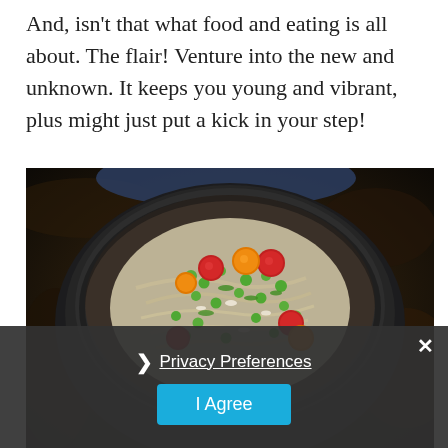And, isn't that what food and eating is all about. The flair! Venture into the new and unknown. It keeps you young and vibrant, plus might just put a kick in your step!
[Figure (photo): Overhead shot of a dark bowl containing pasta or noodle salad with green peas, red and yellow cherry tomatoes, and fresh herbs on a dark rustic surface.]
× ❯ Privacy Preferences I Agree